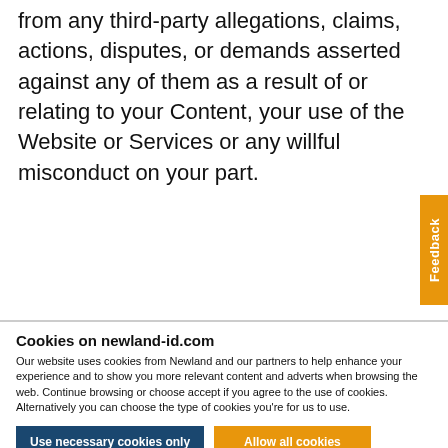from any third-party allegations, claims, actions, disputes, or demands asserted against any of them as a result of or relating to your Content, your use of the Website or Services or any willful misconduct on your part.
Cookies on newland-id.com
Our website uses cookies from Newland and our partners to help enhance your experience and to show you more relevant content and adverts when browsing the web. Continue browsing or choose accept if you agree to the use of cookies. Alternatively you can choose the type of cookies you're for us to use.
Use necessary cookies only
Allow all cookies
Show details